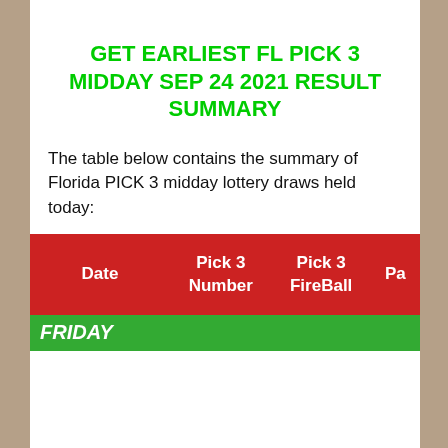GET EARLIEST FL PICK 3 MIDDAY SEP 24 2021 RESULT SUMMARY
The table below contains the summary of Florida PICK 3 midday lottery draws held today:
| Date | Pick 3 Number | Pick 3 FireBall | Pa |
| --- | --- | --- | --- |
| FRIDAY |  |  |  |